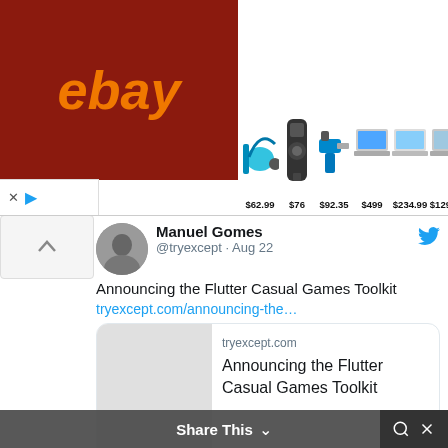[Figure (screenshot): eBay advertisement banner with product listings: power tool at $62.99, speaker at $76, power drill set at $92.35, laptop at $499, laptop at $234.99, laptop at $129.99]
Manuel Gomes @tryexcept · Aug 22
Announcing the Flutter Casual Games Toolkit
tryexcept.com/announcing-the…
[Figure (screenshot): Link preview card showing tryexcept.com - Announcing the Flutter Casual Games Toolkit]
Manuel Gomes @tryexcept · Aug 8
Machine Learning Crash Course With ML.NET tryexcept.com/machine-learn...
Share This